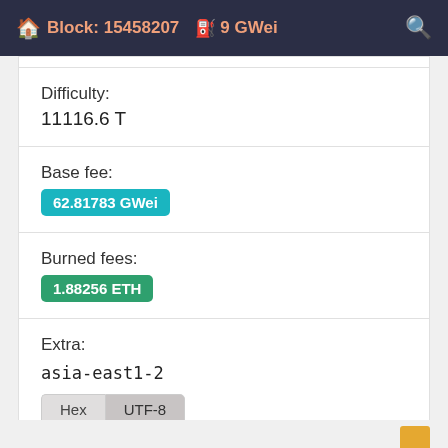Block: 15458207  9 GWei
Difficulty:
11116.6 T
Base fee:
62.81783 GWei
Burned fees:
1.88256 ETH
Extra:
asia-east1-2
Hex  UTF-8